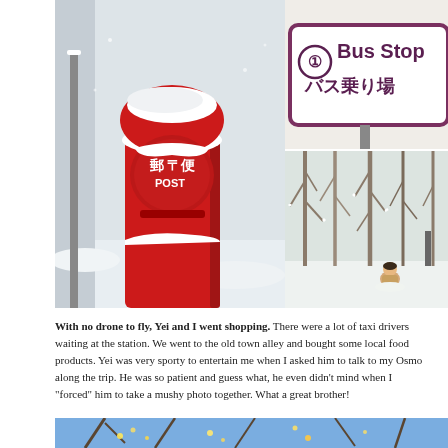[Figure (photo): Three photos arranged in a grid: left — a large red Japanese post box (郵便 POST) covered in snow; top right — a Japanese bus stop sign reading '① Bus Stop バス乗り場' with purple border; bottom right — a snow-covered forest scene with a child sitting in the snow among bare trees.]
With no drone to fly, Yei and I went shopping. There were a lot of taxi drivers waiting at the station. We went to the old town alley and bought some local food products. Yei was very sporty to entertain me when I asked him to talk to my Osmo along the trip. He was so patient and guess what, he even didn't mind when I "forced" him to take a mushy photo together. What a great brother!
[Figure (photo): Partial view of a photo showing bare tree branches with small lights, against a blue sky — bottom of the page, cropped.]